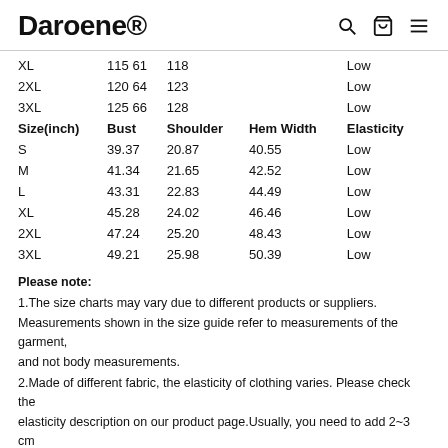Daroene®
| Size(inch) | Bust | Shoulder | Hem Width | Elasticity |
| --- | --- | --- | --- | --- |
| XL | 115 | 61 | 118 | Low |
| 2XL | 120 | 64 | 123 | Low |
| 3XL | 125 | 66 | 128 | Low |
| S | 39.37 | 20.87 | 40.55 | Low |
| M | 41.34 | 21.65 | 42.52 | Low |
| L | 43.31 | 22.83 | 44.49 | Low |
| XL | 45.28 | 24.02 | 46.46 | Low |
| 2XL | 47.24 | 25.20 | 48.43 | Low |
| 3XL | 49.21 | 25.98 | 50.39 | Low |
Please note:
1.The size charts may vary due to different products or suppliers. Measurements shown in the size guide refer to measurements of the garment, and not body measurements.
2.Made of different fabric, the elasticity of clothing varies. Please check the elasticity description on our product page.Usually, you need to add 2~3 cm from the garment measurement to body measurement.